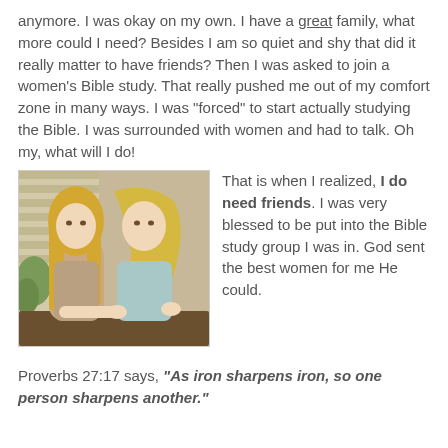anymore.  I was okay on my own. I have a great family, what more could I need?  Besides I am so quiet and shy that did it really matter to have friends?  Then I was asked to join a women's Bible study.  That really pushed me out of my comfort zone in many ways.  I was "forced" to start actually studying the Bible.  I was surrounded with women and had to talk.  Oh my, what will I do!
[Figure (photo): Two women with long blonde hair sitting together at a table, one leaning toward the other in a supportive pose.]
That is when I realized, I do need friends.  I was very blessed to be put into the Bible study group I was in.  God sent the best women for me He could.
Proverbs 27:17 says, "As iron sharpens iron, so one person sharpens another."